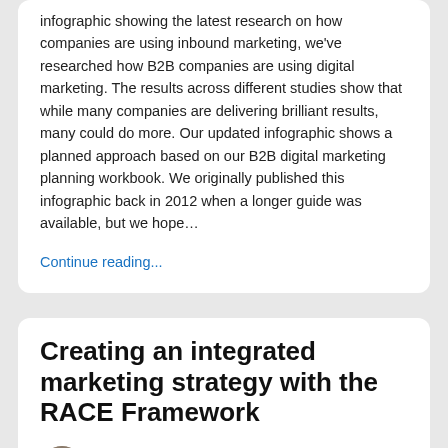infographic showing the latest research on how companies are using inbound marketing, we've researched how B2B companies are using digital marketing. The results across different studies show that while many companies are delivering brilliant results,  many could do more. Our updated infographic shows a planned approach based on our B2B digital marketing planning workbook. We originally published this infographic back in 2012 when a longer guide was available, but we hope…
Continue reading...
Creating an integrated marketing strategy with the RACE Framework
By Simon Swan | April 15, 2021